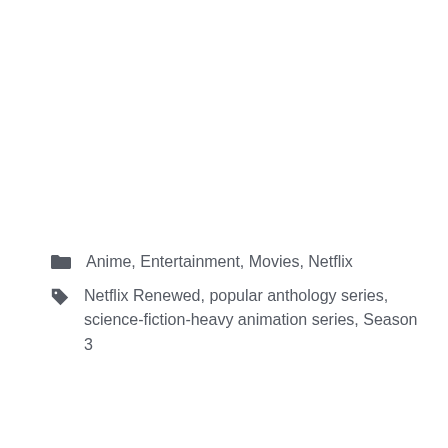Anime, Entertainment, Movies, Netflix
Netflix Renewed, popular anthology series, science-fiction-heavy animation series, Season 3